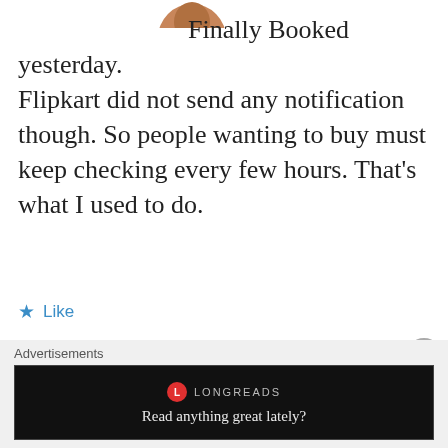[Figure (photo): Partial avatar image at top, showing bottom portion of a round profile picture with brown/orange color]
Finally Booked yesterday. Flipkart did not send any notification though. So people wanting to buy must keep checking every few hours. That’s what I used to do.
★ Like
REPLY
[Figure (logo): Green and white ninja star / geometric quilt pattern avatar for user mani2604]
mani2604
JUNE 4, 2014 AT 2:02 PM
Advertisements
[Figure (screenshot): Longreads advertisement banner on black background reading 'Read anything great lately?']